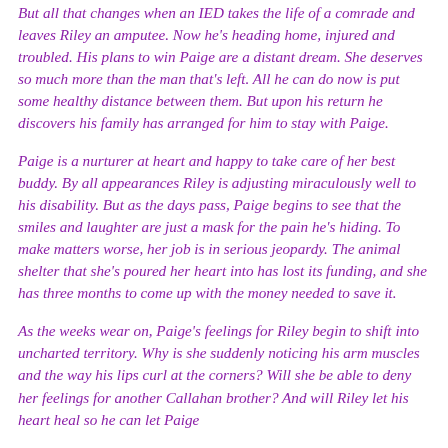But all that changes when an IED takes the life of a comrade and leaves Riley an amputee. Now he's heading home, injured and troubled. His plans to win Paige are a distant dream. She deserves so much more than the man that's left. All he can do now is put some healthy distance between them. But upon his return he discovers his family has arranged for him to stay with Paige.
Paige is a nurturer at heart and happy to take care of her best buddy. By all appearances Riley is adjusting miraculously well to his disability. But as the days pass, Paige begins to see that the smiles and laughter are just a mask for the pain he's hiding. To make matters worse, her job is in serious jeopardy. The animal shelter that she's poured her heart into has lost its funding, and she has three months to come up with the money needed to save it.
As the weeks wear on, Paige's feelings for Riley begin to shift into uncharted territory. Why is she suddenly noticing his arm muscles and the way his lips curl at the corners? Will she be able to deny her feelings for another Callahan brother? And will Riley let his heart heal so he can let Paige